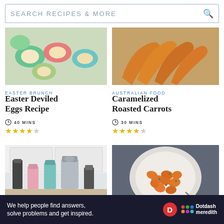SEARCH RECIPES & MORE
[Figure (photo): Colorful Easter deviled eggs with green, teal and pink egg whites topped with filling, viewed from above]
EASTER BRUNCH
Easter Deviled Eggs Recipe
40 MINS
4 out of 5 stars
[Figure (photo): Caramelized roasted orange carrots on parchment paper]
AUSTRALIAN FOOD
Caramelized Roasted Carrots
30 MINS
4 out of 5 stars
[Figure (photo): Multiple juicers and blenders displayed in a kitchen setting]
[Figure (photo): Glazed carrots in a white bowl with herbs, viewed from above]
We help people find answers, solve problems and get inspired.
Dotdash meredith